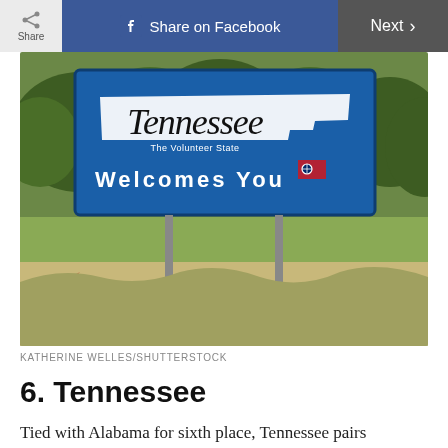Share | Share on Facebook | Next >
[Figure (photo): Tennessee state welcome sign reading 'Tennessee The Volunteer State Welcomes You' mounted on two metal poles over a grassy roadside landscape with trees in background.]
KATHERINE WELLES/SHUTTERSTOCK
6. Tennessee
Tied with Alabama for sixth place, Tennessee pairs livability with some other stellar numbers—it was ranked as the fifth-best economy and the fifth-